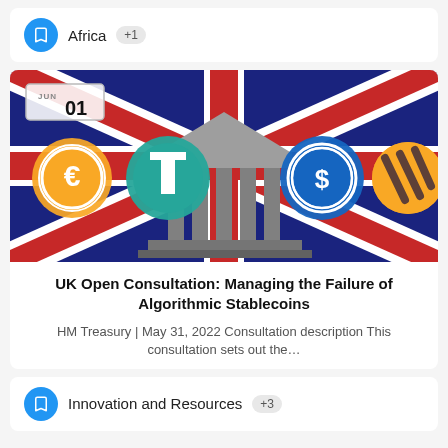Africa  +1
[Figure (illustration): UK flag background with a classical building/bank icon in center, surrounded by cryptocurrency stablecoin logos (Euro stablecoin, Tether/USDT, USD Coin, and another token). Date badge shows JUN 01.]
UK Open Consultation: Managing the Failure of Algorithmic Stablecoins
HM Treasury | May 31, 2022 Consultation description This consultation sets out the…
Innovation and Resources  +3